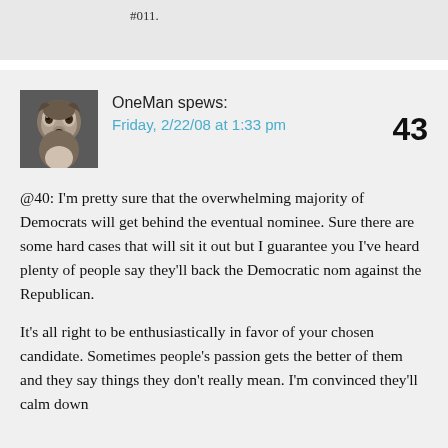#011.
OneMan spews:
Friday, 2/22/08 at 1:33 pm
43
@40: I'm pretty sure that the overwhelming majority of Democrats will get behind the eventual nominee. Sure there are some hard cases that will sit it out but I guarantee you I've heard plenty of people say they'll back the Democratic nom against the Republican.

It's all right to be enthusiastically in favor of your chosen candidate. Sometimes people's passion gets the better of them and they say things they don't really mean. I'm convinced they'll calm down